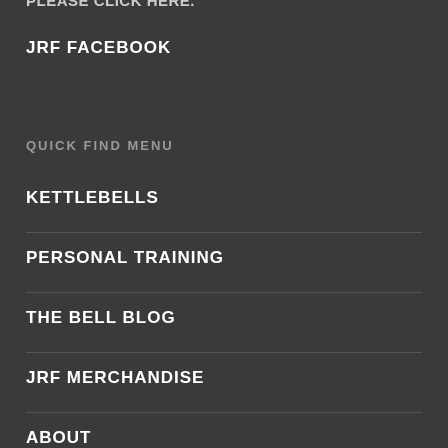please click HERE.
JRF FACEBOOK
QUICK FIND MENU
KETTLEBELLS
PERSONAL TRAINING
THE BELL BLOG
JRF MERCHANDISE
ABOUT
CONTACT US